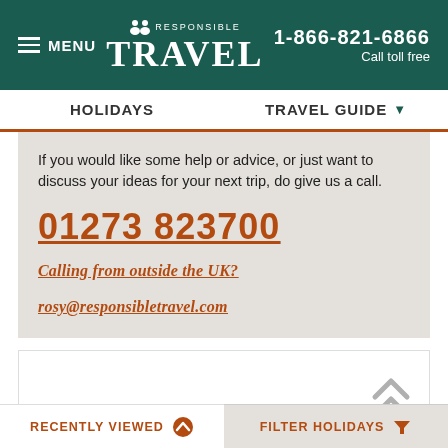MENU | RESPONSIBLE TRAVEL | 1-866-821-6866 Call toll free
HOLIDAYS | TRAVEL GUIDE
If you would like some help or advice, or just want to discuss your ideas for your next trip, do give us a call.
01273 823700
Calling from outside the UK?
rosy@responsibletravel.com
[Figure (screenshot): White content card with up-chevron arrow icon]
RECENTLY VIEWED | FILTER HOLIDAYS